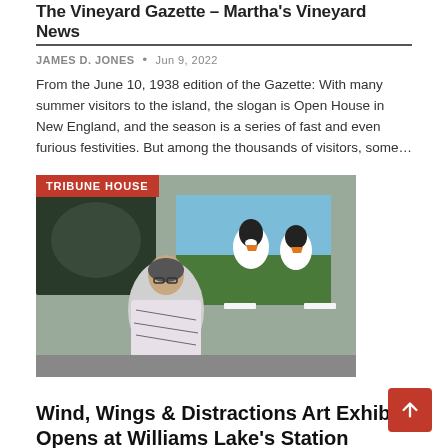The Vineyard Gazette – Martha's Vineyard News
JAMES D. JONES  •  Jun 9, 2022
From the June 10, 1938 edition of the Gazette: With many summer visitors to the island, the slogan is Open House in New England, and the season is a series of fast and even furious festivities. But among the thousands of visitors, some…
[Figure (photo): Woman standing in front of puffin painting at Station House Gallery, with TRIBUNE HOUSE badge overlay in red at top left]
Wind, Wings & Distractions Art Exhibit Opens at Williams Lake's Station House Gallery…
JAMES D. JONES  •  Jun 8, 2022
Artist Anne Brown stands next to her puffin painting at the Station House Gallery on June 2, 2022 for the opening reception of the group show, Wind, Wings & Distractions. (Photo by Ruth Lloyd - Williams Lake Tribune)Marilyn…